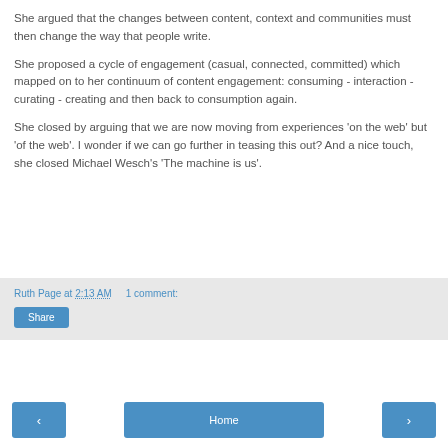She argued that the changes between content, context and communities must then change the way that people write.
She proposed a cycle of engagement (casual, connected, committed) which mapped on to her continuum of content engagement: consuming - interaction - curating - creating and then back to consumption again.
She closed by arguing that we are now moving from experiences 'on the web' but 'of the web'. I wonder if we can go further in teasing this out? And a nice touch, she closed Michael Wesch's 'The machine is us'.
Ruth Page at 2:13 AM    1 comment:
Share
‹   Home   ›